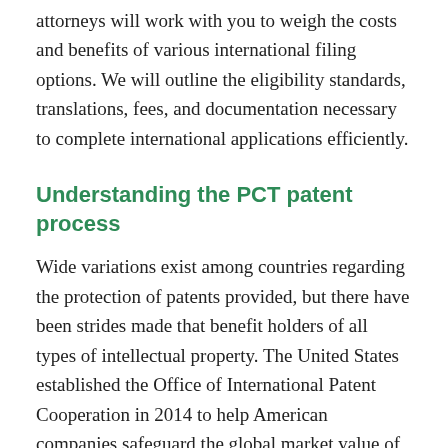attorneys will work with you to weigh the costs and benefits of various international filing options. We will outline the eligibility standards, translations, fees, and documentation necessary to complete international applications efficiently.
Understanding the PCT patent process
Wide variations exist among countries regarding the protection of patents provided, but there have been strides made that benefit holders of all types of intellectual property. The United States established the Office of International Patent Cooperation in 2014 to help American companies safeguard the global market value of inventions. The Patent Cooperation Treaty (PCT) has more than 150 contracting states and helps relieve the burden associated with filing for